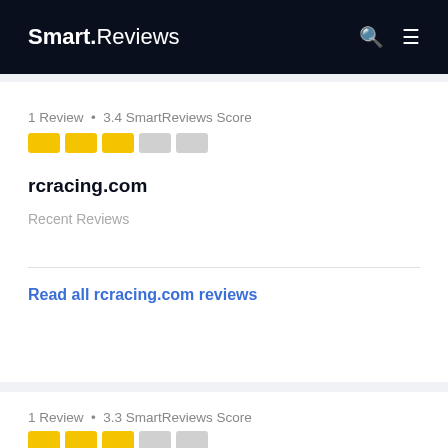Smart.Reviews
1 Review • 3.4 SmartReviews Score
rcracing.com
Recent Reviews
Read all rcracing.com reviews
1 Review • 3.3 SmartReviews Score